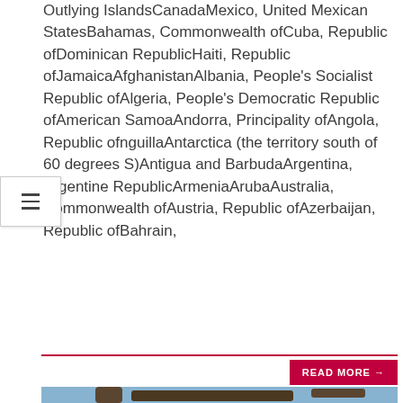Outlying IslandsCanadaMexico, United Mexican StatesBahamas, Commonwealth ofCuba, Republic ofDominican RepublicHaiti, Republic ofJamaicaAfghanistanAlbania, People's Socialist Republic ofAlgeria, People's Democratic Republic ofAmerican SamoaAndorra, Principality ofAngola, Republic ofAnguillaAntarctica (the territory south of 60 degrees S)Antigua and BarbudaArgentina, Argentine RepublicArmeniaArubaAustralia, Commonwealth ofAustria, Republic ofAzerbaijan, Republic ofBahrain,
[Figure (photo): Children and adults playing outdoors with hula hoops under a large tree with spreading branches. Multiple people with arms raised holding hoops. Outdoor setting with green foliage and bright sky.]